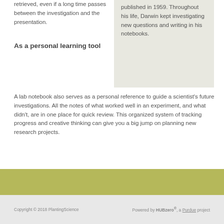retrieved, even if a long time passes between the investigation and the presentation.
As a personal learning tool
A lab notebook also serves as a personal reference to guide a scientist's future investigations. All the notes of what worked well in an experiment, and what didn't, are in one place for quick review. This organized system of tracking progress and creative thinking can give you a big jump on planning new research projects.
published in 1959. Throughout his life, Darwin kept investigating new questions and writing in his notebooks.
Copyright © 2018 PlantingScience    Powered by HUBzero®, a Purdue project